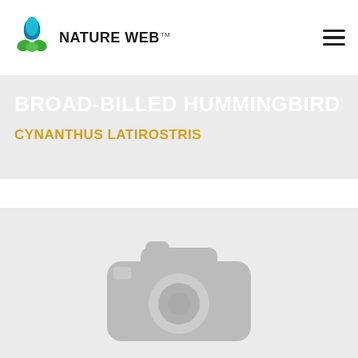NATURE WEB
BROAD-BILLED HUMMINGBIRD
CYNANTHUS LATIROSTRIS
[Figure (photo): Placeholder camera icon image for Broad-billed Hummingbird photo]